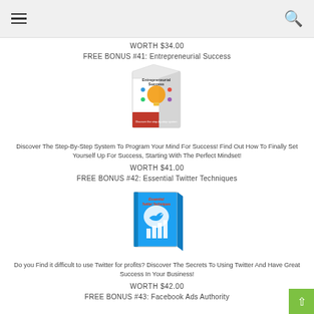Navigation header with hamburger menu and search icon
WORTH $34.00
FREE BONUS #41: Entrepreneurial Success
[Figure (illustration): Book/box product image for Entrepreneurial Success with lightbulb and colorful icons on cover]
Discover The Step-By-Step System To Program Your Mind For Success! Find Out How To Finally Set Yourself Up For Success, Starting With The Perfect Mindset!
WORTH $41.00
FREE BONUS #42: Essential Twitter Techniques
[Figure (illustration): Book product image for Essential Twitter Techniques with Twitter bird and bar chart on cover]
Do you Find it difficult to use Twitter for profits? Discover The Secrets To Using Twitter And Have Great Success In Your Business!
WORTH $42.00
FREE BONUS #43: Facebook Ads Authority